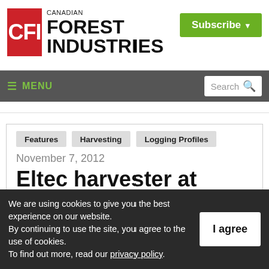[Figure (logo): Canadian Forest Industries (CFI) logo with red CFI box and bold black text]
Subscribe ▾
≡ MENU | Search
Features   Harvesting   Logging Profiles
November 7, 2012
Eltec harvester at work in the Quebec forest
We are using cookies to give you the best experience on our website.
By continuing to use the site, you agree to the use of cookies.
To find out more, read our privacy policy.